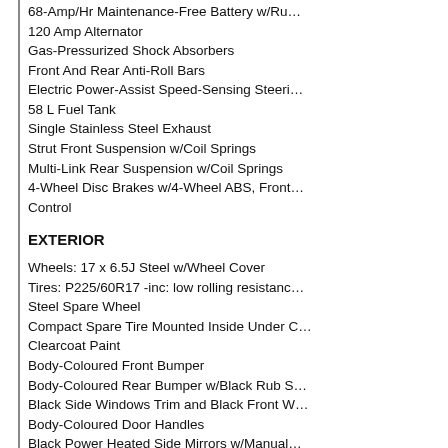68-Amp/Hr Maintenance-Free Battery w/Ru…
120 Amp Alternator
Gas-Pressurized Shock Absorbers
Front And Rear Anti-Roll Bars
Electric Power-Assist Speed-Sensing Steeri…
58 L Fuel Tank
Single Stainless Steel Exhaust
Strut Front Suspension w/Coil Springs
Multi-Link Rear Suspension w/Coil Springs
4-Wheel Disc Brakes w/4-Wheel ABS, Front… Control
EXTERIOR
Wheels: 17 x 6.5J Steel w/Wheel Cover
Tires: P225/60R17 -inc: low rolling resistanc…
Steel Spare Wheel
Compact Spare Tire Mounted Inside Under C…
Clearcoat Paint
Body-Coloured Front Bumper
Body-Coloured Rear Bumper w/Black Rub S…
Black Side Windows Trim and Black Front W…
Body-Coloured Door Handles
Black Power Heated Side Mirrors w/Manual…
Fixed Rear Window w/Fixed Interval Wiper a… Variable Intermittent Wipers
Front Windshield -inc: Sun Visor Strip
Fully Galvanized Steel Panels
Lip Spoiler
Body-Coloured Grille
Liftgate Rear Cargo Access
Auto Off Projector Beam Halogen Daytime R…